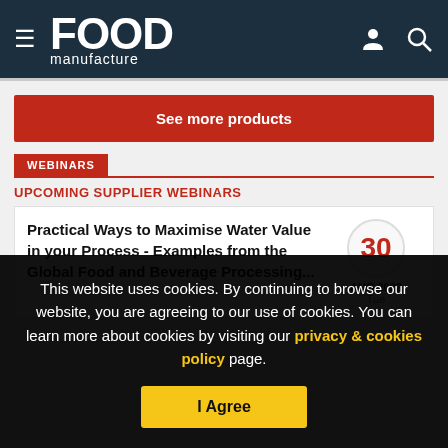FOOD manufacture
See more products
WEBINARS
UPCOMING SUPPLIER WEBINARS
Practical Ways to Maximise Water Value in your Process - Examples from the Global Food and Beverage Processing...
30 AUG 2022 Tue
This website uses cookies. By continuing to browse our website, you are agreeing to our use of cookies. You can learn more about cookies by visiting our privacy & cookies policy page.
I Agree